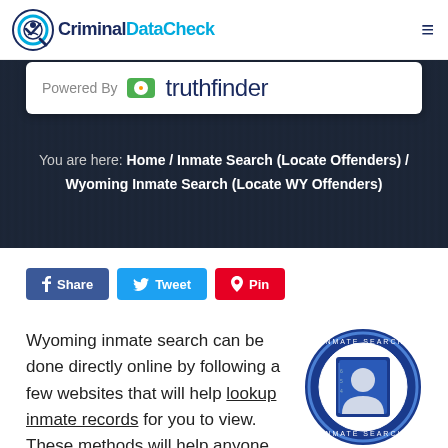CriminalDataCheck
[Figure (logo): CriminalDataCheck logo with circular check-mark icon and text]
Powered By truthfinder
You are here: Home / Inmate Search (Locate Offenders) / Wyoming Inmate Search (Locate WY Offenders)
Share  Tweet  Pin
Wyoming inmate search can be done directly online by following a few websites that will help lookup inmate records for you to view. These methods will help anyone...
[Figure (illustration): Circular badge with text INMATE SEARCH around the border and a mugshot/booking photo icon in the center]